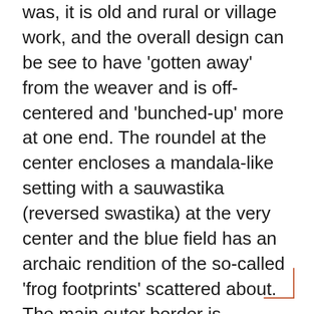was, it is old and rural or village work, and the overall design can be see to have 'gotten away' from the weaver and is off-centered and 'bunched-up' more at one end. The roundel at the center encloses a mandala-like setting with a sauwastika (reversed swastika) at the very center and the blue field has an archaic rendition of the so-called 'frog footprints' scattered about. The main outer border is adorned with flowers at the cardinal points, while the inner border encompassing pearls is of undyed brown wool. All others are natural dyes. This has been in a private collection since the early 1970's and is the first time on the market since then.